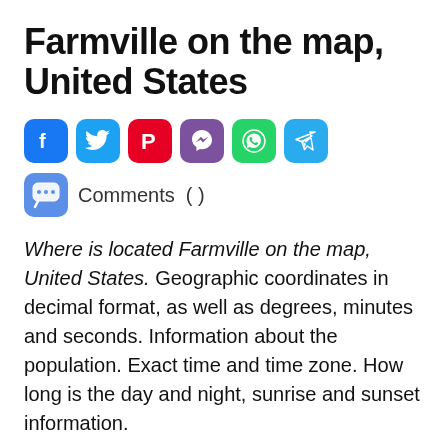Farmville on the map, United States
[Figure (infographic): Six social media share buttons: Facebook (blue), Twitter (light blue), Pinterest (red), Viber (purple), WhatsApp (green), Telegram (blue)]
Comments ( )
Where is located Farmville on the map, United States. Geographic coordinates in decimal format, as well as degrees, minutes and seconds. Information about the population. Exact time and time zone. How long is the day and night, sunrise and sunset information.
Contents